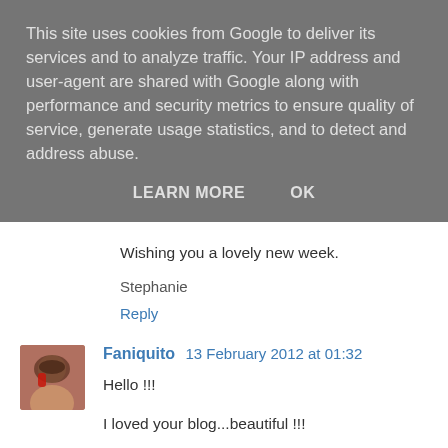This site uses cookies from Google to deliver its services and to analyze traffic. Your IP address and user-agent are shared with Google along with performance and security metrics to ensure quality of service, generate usage statistics, and to detect and address abuse.
LEARN MORE   OK
Wishing you a lovely new week.
Stephanie
Reply
Faniquito  13 February 2012 at 01:32
Hello !!!
I loved your blog...beautiful !!!
I'll follow you!!!